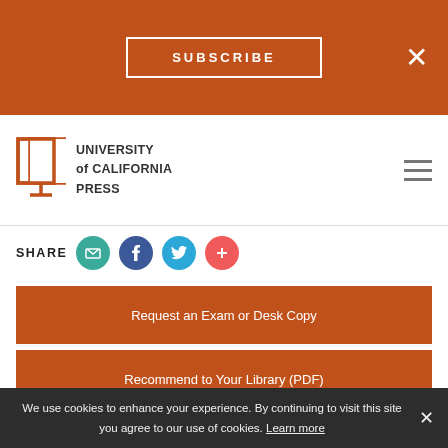SUBSCRIBE
[Figure (logo): University of California Press logo with book icon and text]
SHARE
Request an Exam or Desk Copy
Recommend to Your Library (PDF)
RightsLink
We use cookies to enhance your experience. By continuing to visit this site you agree to our use of cookies. Learn more